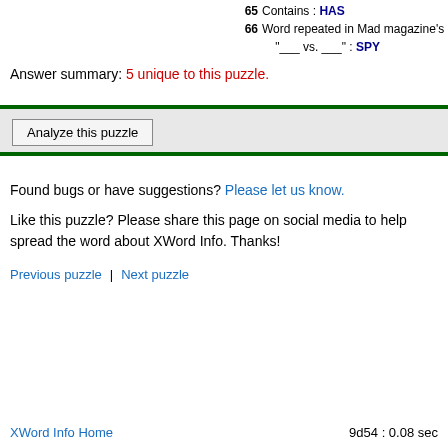65 Contains : HAS
66 Word repeated in Mad magazine's "___ vs. ___" : SPY
Answer summary: 5 unique to this puzzle.
Analyze this puzzle
Found bugs or have suggestions? Please let us know.
Like this puzzle? Please share this page on social media to help spread the word about XWord Info. Thanks!
Previous puzzle | Next puzzle
XWord Info Home    9d54 : 0.08 sec